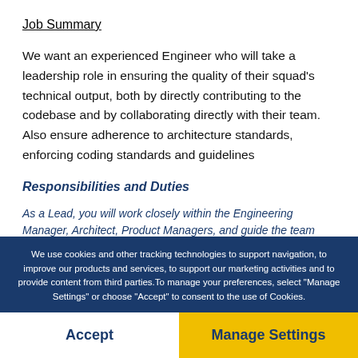Job Summary
We want an experienced Engineer who will take a leadership role in ensuring the quality of their squad's technical output, both by directly contributing to the codebase and by collaborating directly with their team. Also ensure adherence to architecture standards, enforcing coding standards and guidelines
Responsibilities and Duties
As a Lead, you will work closely within the Engineering Manager, Architect, Product Managers, and guide the team thru...
We use cookies and other tracking technologies to support navigation, to improve our products and services, to support our marketing activities and to provide content from third parties. To manage your preferences, select "Manage Settings" or choose "Accept" to consent to the use of Cookies.
Accept
Manage Settings